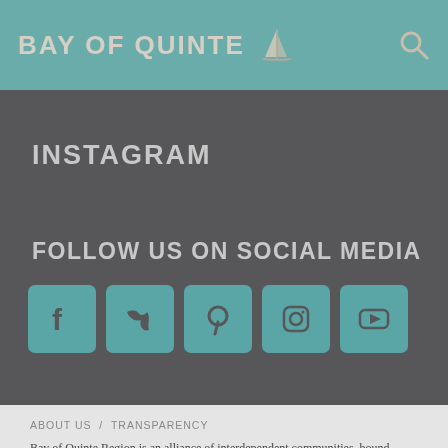BAY OF QUINTE
INSTAGRAM
FOLLOW US ON SOCIAL MEDIA
[Figure (infographic): Social media icons: Facebook, Twitter, Pinterest, Instagram, YouTube — each in a teal rounded square]
ABOUT US / TRANSPARENCY
Bay of Quinte Region is an alliance of interdependent communities, bound together by a common history, shared economy, and the water that surrounds and defines us. We hope to welcome you soon.